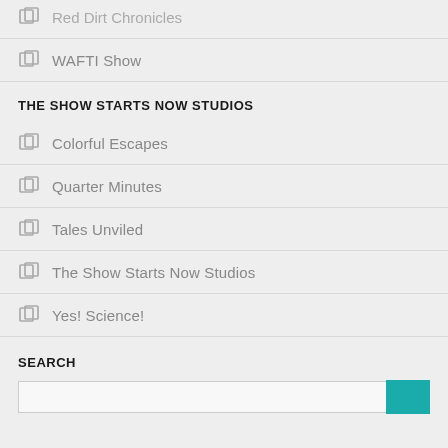Red Dirt Chronicles
WAFTI Show
THE SHOW STARTS NOW STUDIOS
Colorful Escapes
Quarter Minutes
Tales Unviled
The Show Starts Now Studios
Yes! Science!
SEARCH